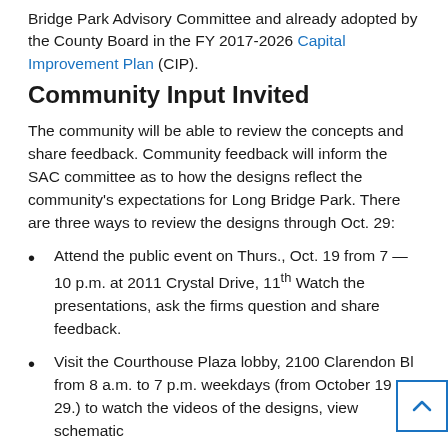Bridge Park Advisory Committee and already adopted by the County Board in the FY 2017-2026 Capital Improvement Plan (CIP).
Community Input Invited
The community will be able to review the concepts and share feedback. Community feedback will inform the SAC committee as to how the designs reflect the community's expectations for Long Bridge Park. There are three ways to review the designs through Oct. 29:
Attend the public event on Thurs., Oct. 19 from 7 – 10 p.m. at 2011 Crystal Drive, 11th Watch the presentations, ask the firms question and share feedback.
Visit the Courthouse Plaza lobby, 2100 Clarendon Bl from 8 a.m. to 7 p.m. weekdays (from October 19 to 29.) to watch the videos of the designs, view schematic